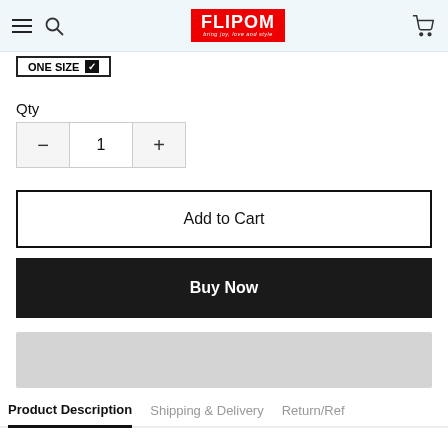FLIPOM — bring joy, love and style
ONE SIZE ✓
Qty
- 1 +
Add to Cart
Buy Now
Product Description   Shipping & Delivery   Return/Ref